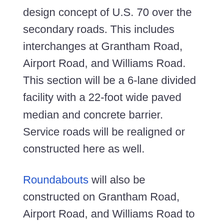design concept of U.S. 70 over the secondary roads. This includes interchanges at Grantham Road, Airport Road, and Williams Road. This section will be a 6-lane divided facility with a 22-foot wide paved median and concrete barrier. Service roads will be realigned or constructed here as well.
Roundabouts will also be constructed on Grantham Road, Airport Road, and Williams Road to improve traffic flow. Visualizations of the roundabouts can be found in the Photos & Videos section of the website.
A reduced-conflict intersection is a design that